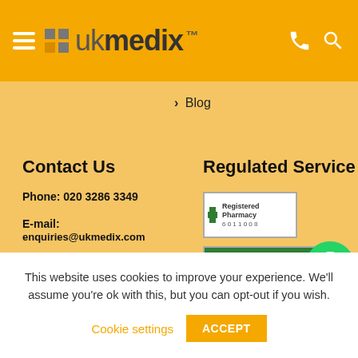ukmedix™
> Blog
Contact Us
Phone: 020 3286 3349
E-mail: enquiries@ukmedix.com
[Figure (logo): Twitter bird logo in blue circle]
Regulated Service
[Figure (logo): Registered Pharmacy 6011008 badge with green cross]
[Figure (logo): Click to verify if this website is operating - green cross verification badge with UK flag]
[Figure (logo): WhatsApp logo in green circle]
This website uses cookies to improve your experience. We'll assume you're ok with this, but you can opt-out if you wish.
Cookie settings
ACCEPT